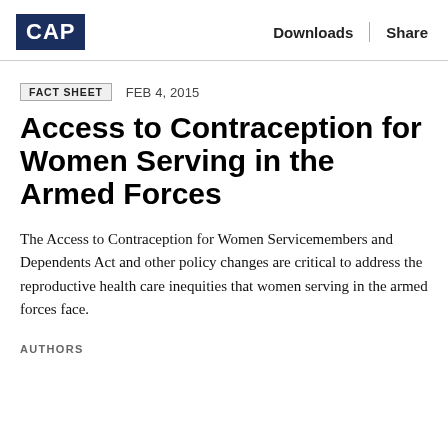CAP | Downloads | Share
FACT SHEET   FEB 4, 2015
Access to Contraception for Women Serving in the Armed Forces
The Access to Contraception for Women Servicemembers and Dependents Act and other policy changes are critical to address the reproductive health care inequities that women serving in the armed forces face.
AUTHORS